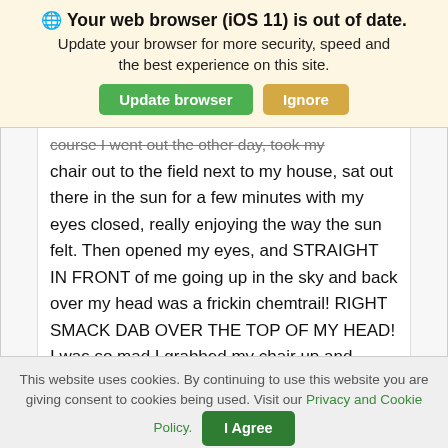🌐 Your web browser (iOS 11) is out of date. Update your browser for more security, speed and the best experience on this site. [Update browser] [Ignore]
...course I went out the other day, took my chair out to the field next to my house, sat out there in the sun for a few minutes with my eyes closed, really enjoying the way the sun felt. Then opened my eyes, and STRAIGHT IN FRONT of me going up in the sky and back over my head was a frickin chemtrail! RIGHT SMACK DAB OVER THE TOP OF MY HEAD! I was so mad I grabbed my chair up and marched back inside. Do you remember back in the
This website uses cookies. By continuing to use this website you are giving consent to cookies being used. Visit our Privacy and Cookie Policy. [I Agree]